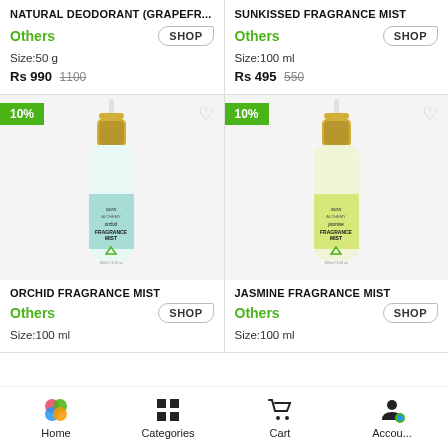NATURAL DEODORANT (GRAPEFR...
Others  SHOP  Size:50 g  Rs 990  1100
SUNKISSED FRAGRANCE MIST
Others  SHOP  Size:100 ml  Rs 495  550
[Figure (photo): Orchid Fragrance Mist bottle - white with teal label and gold cap, Aura Normalyy brand, 10% discount badge]
ORCHID FRAGRANCE MIST
Others  SHOP  Size:100 ml
[Figure (photo): Jasmine Fragrance Mist bottle - white with yellow-green label and gold cap, Aura Normalyy brand, 10% discount badge]
JASMINE FRAGRANCE MIST
Others  SHOP  Size:100 ml
Home  Categories  Cart  Account